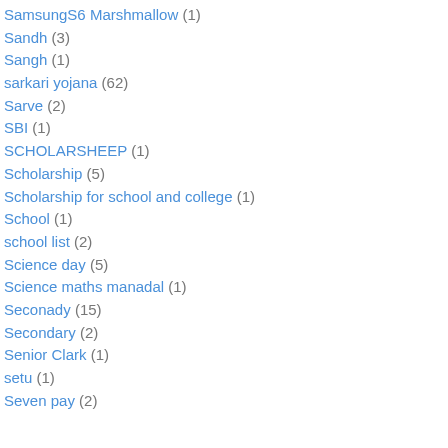SamsungS6 Marshmallow (1)
Sandh (3)
Sangh (1)
sarkari yojana (62)
Sarve (2)
SBI (1)
SCHOLARSHEEP (1)
Scholarship (5)
Scholarship for school and college (1)
School (1)
school list (2)
Science day (5)
Science maths manadal (1)
Seconady (15)
Secondary (2)
Senior Clark (1)
setu (1)
Seven pay (2)